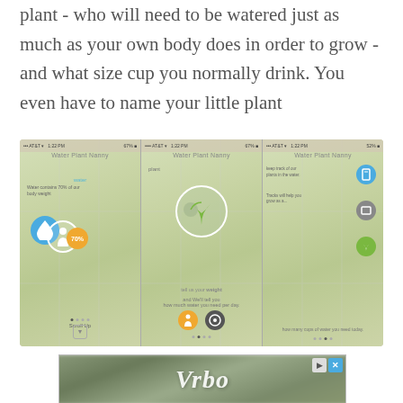plant - who will need to be watered just as much as your own body does in order to grow - and what size cup you normally drink. You even have to name your little plant
[Figure (screenshot): Three mobile app screenshots showing a water tracking app called 'Water Plant Nanny'. First screen shows water percentage (70%) with blue circle and person icon. Second screen shows a plant icon with weight input and activity icons. Third screen shows app features with icons for cup, book, and plant tracking.]
[Figure (photo): Vrbo advertisement banner with a blurred house image in background and 'Vrbo' text logo in white italic letters, with play and close buttons in top right corner.]